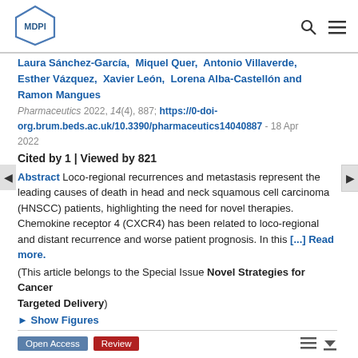[Figure (logo): MDPI logo — hexagonal icon with 'MDPI' text]
Laura Sánchez-García, Miquel Quer, Antonio Villaverde, Esther Vázquez, Xavier León, Lorena Alba-Castellón and Ramon Mangues
Pharmaceutics 2022, 14(4), 887; https://0-doi-org.brum.beds.ac.uk/10.3390/pharmaceutics14040887 - 18 Apr 2022
Cited by 1 | Viewed by 821
Abstract Loco-regional recurrences and metastasis represent the leading causes of death in head and neck squamous cell carcinoma (HNSCC) patients, highlighting the need for novel therapies. Chemokine receptor 4 (CXCR4) has been related to loco-regional and distant recurrence and worse patient prognosis. In this [...] Read more.
(This article belongs to the Special Issue Novel Strategies for Cancer Targeted Delivery)
► Show Figures
Open Access  Review
An Overview of Cell Membrane Perforation and